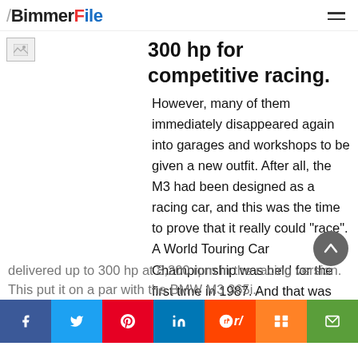BimmerFile
300 hp for competitive racing.
[Figure (photo): Broken image placeholder thumbnail]
However, many of them immediately disappeared again into garages and workshops to be given a new outfit. After all, the M3 had been designed as a racing car, and this was the time to prove that it really could "race". A World Touring Car Championship was held for the first time in 1987. And that was exactly what the M3 had been built for. But not quite in the guise in which it was seen on the streets. Instead of 200 hp, the 2.3 litre engine delivered up to 300 hp at 8,200 rpm in the racing version. This put it on a par with the BMW M3 365i...